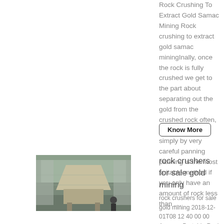Rock Crushing To Extract Gold Samac Mining Rock crushing to extract gold samac miningInally, once the rock is fully crushed we get to the part about separating out the gold from the crushed rock often, this is acplished simply by very careful panning panning is the most suitable method if you only have an amount of rock less than ,...
Know More
[Figure (photo): Thumbnail photo of industrial rock crushing equipment in a warehouse/industrial setting]
rock crushers for sale gold mining
rock crushers for sale gold mining 2018-12-01T08 12 40 00 00 Amazon Portable Rock Crusher Gold Mining Equipment Our Cobra Crusher turns your Angle